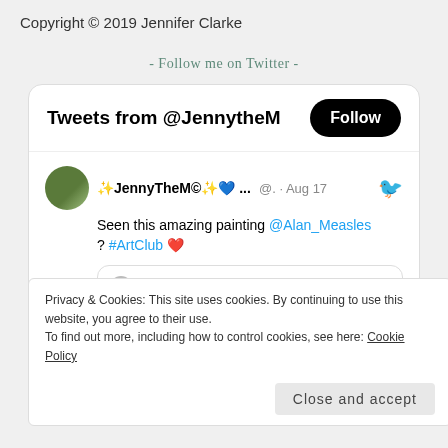Copyright © 2019 Jennifer Clarke
- Follow me on Twitter -
[Figure (screenshot): Twitter widget showing tweets from @JennytheM with a Follow button. Contains a tweet by JennyTheM© about an amazing painting by @Alan_Measles with #ArtClub hashtag. Quoted tweet by Sarah Mil... @sarahemil... · Aug 16 saying 'I may be slightly biased but my 8 year old boy drew and...' with an artwork image.]
Privacy & Cookies: This site uses cookies. By continuing to use this website, you agree to their use.
To find out more, including how to control cookies, see here: Cookie Policy
Close and accept
✨JennyTheM©✨💙ENFP-T #BirthLeadership